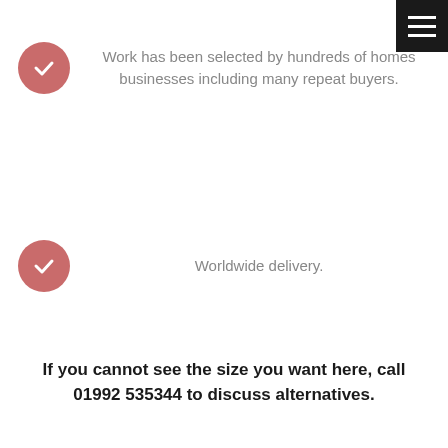Work has been selected by hundreds of homes businesses including many repeat buyers.
Worldwide delivery.
If you cannot see the size you want here, call 01992 535344 to discuss alternatives.
YOU MAY ALSO LIKE
[Figure (other): Black image thumbnail at the bottom of the page, navigation arrows on left and right sides]